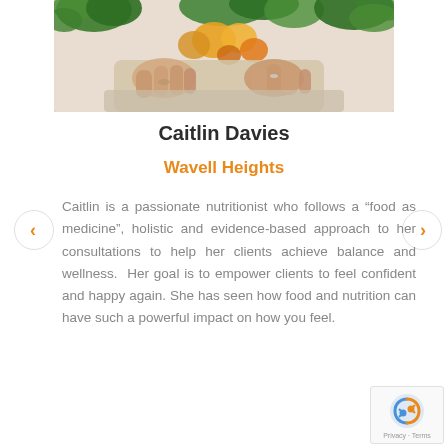[Figure (photo): Hands holding a bag of fresh vegetables including kale, carrots, and other produce]
Caitlin Davies
Wavell Heights
Caitlin is a passionate nutritionist who follows a “food as medicine”, holistic and evidence-based approach to her consultations to help her clients achieve balance and wellness.  Her goal is to empower clients to feel confident and happy again. She has seen how food and nutrition can have such a powerful impact on how you feel.